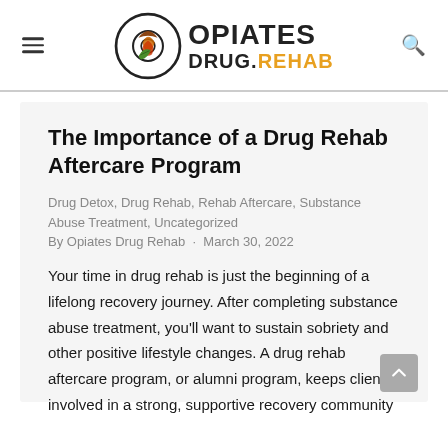[Figure (logo): Opiates Drug Rehab logo with circular icon featuring a leaf and acorn motif, beside text reading OPIATES DRUG.REHAB]
The Importance of a Drug Rehab Aftercare Program
Drug Detox, Drug Rehab, Rehab Aftercare, Substance Abuse Treatment, Uncategorized
By Opiates Drug Rehab · March 30, 2022
Your time in drug rehab is just the beginning of a lifelong recovery journey. After completing substance abuse treatment, you'll want to sustain sobriety and other positive lifestyle changes. A drug rehab aftercare program, or alumni program, keeps clients involved in a strong, supportive recovery community